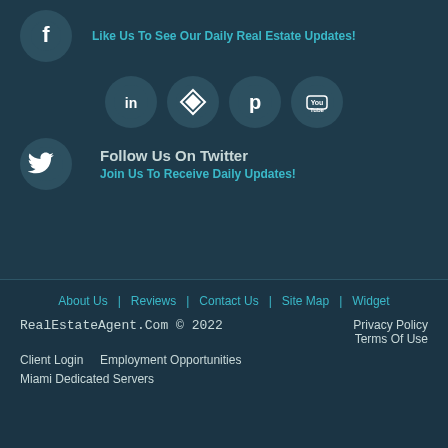[Figure (logo): Facebook icon circle with Like Us To See Our Daily Real Estate Updates! text]
Like Us To See Our Daily Real Estate Updates!
[Figure (logo): Row of social media icons: LinkedIn, Trulia/Homesnap, Pinterest, YouTube]
Follow Us On Twitter
Join Us To Receive Daily Updates!
[Figure (logo): Twitter bird icon circle]
About Us  Reviews  Contact Us  Site Map  Widget  RealEstateAgent.Com © 2022  Privacy Policy  Terms Of Use  Client Login  Employment Opportunities  Miami Dedicated Servers